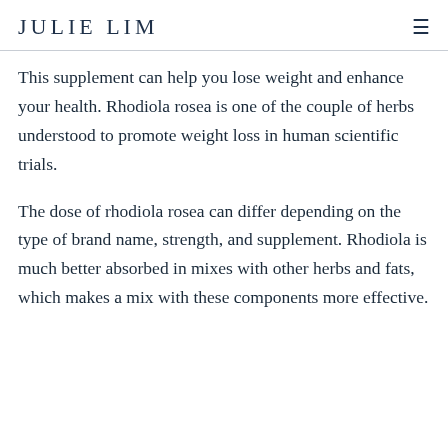JULIE LIM
This supplement can help you lose weight and enhance your health. Rhodiola rosea is one of the couple of herbs understood to promote weight loss in human scientific trials.
The dose of rhodiola rosea can differ depending on the type of brand name, strength, and supplement. Rhodiola is much better absorbed in mixes with other herbs and fats, which makes a mix with these components more effective.